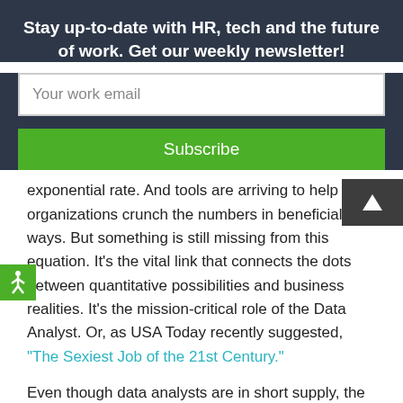Stay up-to-date with HR, tech and the future of work. Get our weekly newsletter!
Your work email
Subscribe
exponential rate. And tools are arriving to help HR organizations crunch the numbers in beneficial ways. But something is still missing from this equation. It’s the vital link that connects the dots between quantitative possibilities and business realities. It’s the mission-critical role of the Data Analyst. Or, as USA Today recently suggested, “The Sexiest Job of the 21st Century.”
Even though data analysts are in short supply, the TalentCulture Community was lucky enough to glean insight and advice from two smart, articulate analytical professionals this week. Helping us explore key issues